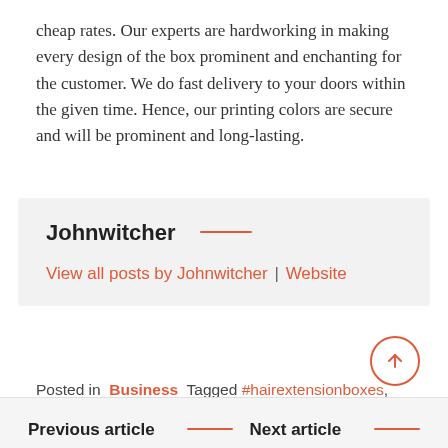cheap rates. Our experts are hardworking in making every design of the box prominent and enchanting for the customer. We do fast delivery to your doors within the given time. Hence, our printing colors are secure and will be prominent and long-lasting.
Johnwitcher
View all posts by Johnwitcher | Website
Posted in Business Tagged #hairextensionboxes, #pillowboxesforhairextensions, #prerollboxes
Previous article
Next article